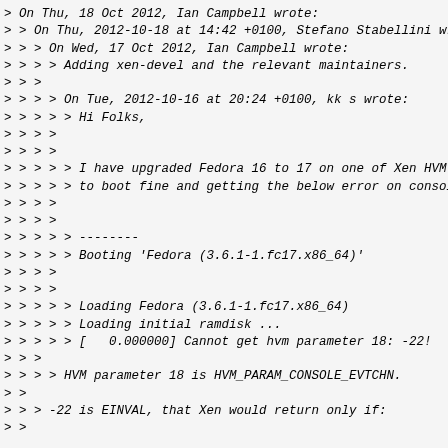> On Thu, 18 Oct 2012, Ian Campbell wrote:
> > On Thu, 2012-10-18 at 14:42 +0100, Stefano Stabellini wrot
> > > On Wed, 17 Oct 2012, Ian Campbell wrote:
> > > > Adding xen-devel and the relevant maintainers.
> > >
> > > > On Tue, 2012-10-16 at 20:24 +0100, kk s wrote:
> > > > > Hi Folks,
> > > >
> > > >
> > > > > I have upgraded Fedora 16 to 17 on one of Xen HVM Do
> > > > > to boot fine and getting the below error on console,
> > > >
> > > >
> > > > > --------
> > > > > Booting 'Fedora (3.6.1-1.fc17.x86_64)'
> > > >
> > > >
> > > > > Loading Fedora (3.6.1-1.fc17.x86_64)
> > > > > Loading initial ramdisk ...
> > > > > [   0.000000] Cannot get hvm parameter 18: -22!
> > >
> > > > HVM parameter 18 is HVM_PARAM_CONSOLE_EVTCHN.
> >
> > > -22 is EINVAL, that Xen would return only if:
> >